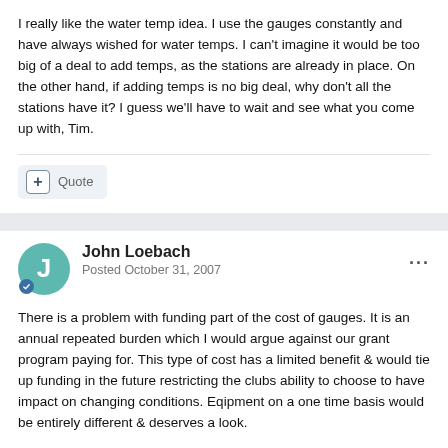I really like the water temp idea. I use the gauges constantly and have always wished for water temps. I can't imagine it would be too big of a deal to add temps, as the stations are already in place. On the other hand, if adding temps is no big deal, why don't all the stations have it? I guess we'll have to wait and see what you come up with, Tim.
Quote
John Loebach
Posted October 31, 2007
There is a problem with funding part of the cost of gauges. It is an annual repeated burden which I would argue against our grant program paying for. This type of cost has a limited benefit & would tie up funding in the future restricting the clubs ability to choose to have impact on changing conditions. Eqipment on a one time basis would be entirely different & deserves a look.